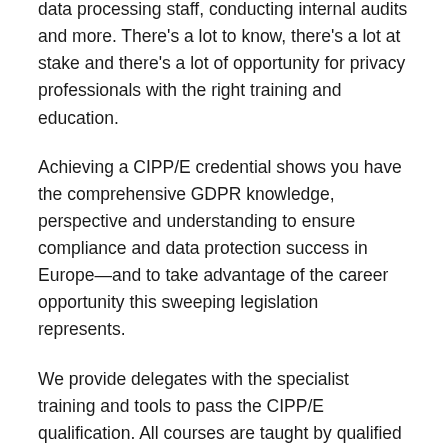data processing staff, conducting internal audits and more. There's a lot to know, there's a lot at stake and there's a lot of opportunity for privacy professionals with the right training and education.
Achieving a CIPP/E credential shows you have the comprehensive GDPR knowledge, perspective and understanding to ensure compliance and data protection success in Europe—and to take advantage of the career opportunity this sweeping legislation represents.
We provide delegates with the specialist training and tools to pass the CIPP/E qualification. All courses are taught by qualified practitioners with commercial experience.